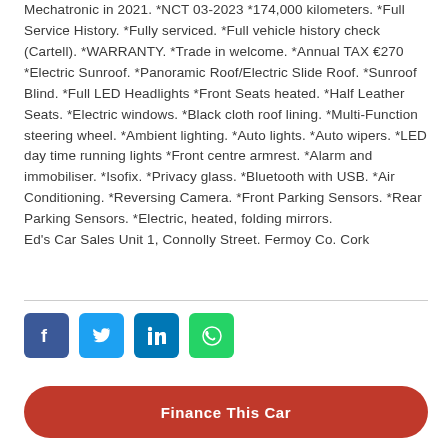Mechatronic in 2021. *NCT 03-2023 *174,000 kilometers. *Full Service History. *Fully serviced. *Full vehicle history check (Cartell). *WARRANTY. *Trade in welcome. *Annual TAX €270 *Electric Sunroof. *Panoramic Roof/Electric Slide Roof. *Sunroof Blind. *Full LED Headlights *Front Seats heated. *Half Leather Seats. *Electric windows. *Black cloth roof lining. *Multi-Function steering wheel. *Ambient lighting. *Auto lights. *Auto wipers. *LED day time running lights *Front centre armrest. *Alarm and immobiliser. *Isofix. *Privacy glass. *Bluetooth with USB. *Air Conditioning. *Reversing Camera. *Front Parking Sensors. *Rear Parking Sensors. *Electric, heated, folding mirrors. Ed's Car Sales Unit 1, Connolly Street. Fermoy Co. Cork
[Figure (other): Social media share icons: Facebook (blue), Twitter (light blue), LinkedIn (dark blue), WhatsApp (green)]
Finance This Car